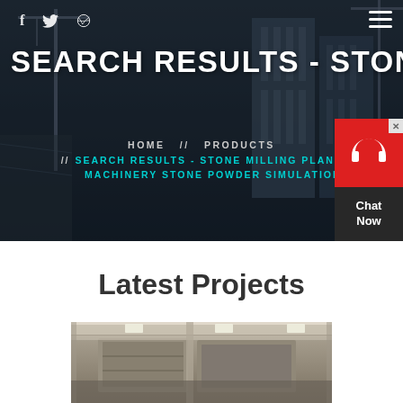[Figure (screenshot): Dark construction site hero background with cranes and buildings under construction]
f  [twitter icon]  [dribbble icon]  [hamburger menu]
SEARCH RESULTS - STONE MILL
HOME  //  PRODUCTS
//  SEARCH RESULTS - STONE MILLING PLANT MACHINERY STONE POWDER SIMULATION
[Figure (screenshot): Chat Now widget with red headset icon on red background and dark panel]
Latest Projects
[Figure (photo): Industrial machinery/stone milling equipment photograph at bottom of page]